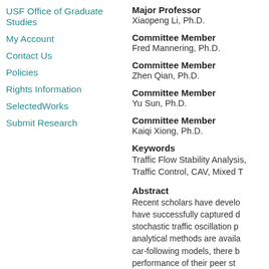USF Office of Graduate Studies
My Account
Contact Us
Policies
Rights Information
SelectedWorks
Submit Research
Major Professor
Xiaopeng Li, Ph.D.
Committee Member
Fred Mannering, Ph.D.
Committee Member
Zhen Qian, Ph.D.
Committee Member
Yu Sun, Ph.D.
Committee Member
Kaiqi Xiong, Ph.D.
Keywords
Traffic Flow Stability Analysis, Traffic Control, CAV, Mixed T
Abstract
Recent scholars have develo have successfully captured d stochastic traffic oscillation p analytical methods are availa car-following models, there b performance of their peer st